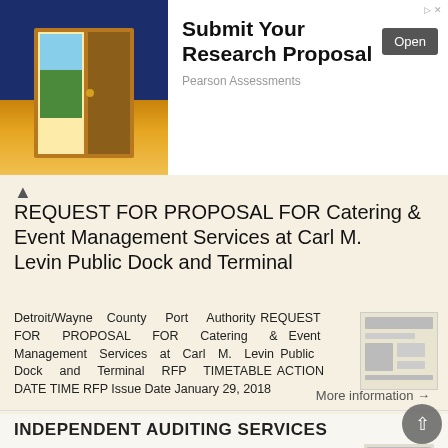[Figure (illustration): Advertisement banner with door illustration opening to a landscape, 'Submit Your Research Proposal' text, Open button, and Pearson Assessments sponsor label]
REQUEST FOR PROPOSAL FOR Catering & Event Management Services at Carl M. Levin Public Dock and Terminal
Detroit/Wayne County Port Authority REQUEST FOR PROPOSAL FOR Catering & Event Management Services at Carl M. Levin Public Dock and Terminal RFP TIMETABLE ACTION DATE TIME RFP Issue Date January 29, 2018
More information →
INDEPENDENT AUDITING SERVICES
SACRAMENTO TRANSPORTATION AUTHORITY 801 12 th Street Floor 5